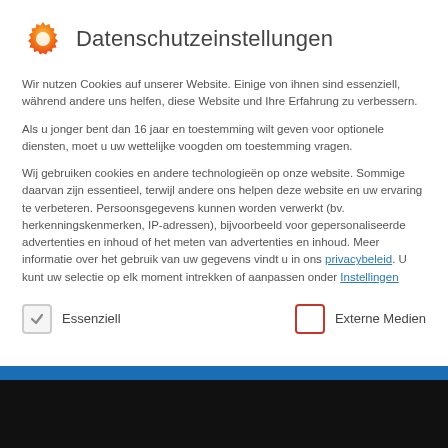Datenschutzeinstellungen
Wir nutzen Cookies auf unserer Website. Einige von ihnen sind essenziell, während andere uns helfen, diese Website und Ihre Erfahrung zu verbessern.
Als u jonger bent dan 16 jaar en toestemming wilt geven voor optionele diensten, moet u uw wettelijke voogden om toestemming vragen.
Wij gebruiken cookies en andere technologieën op onze website. Sommige daarvan zijn essentieel, terwijl andere ons helpen deze website en uw ervaring te verbeteren. Persoonsgegevens kunnen worden verwerkt (bv. herkenningskenmerken, IP-adressen), bijvoorbeeld voor gepersonaliseerde advertenties en inhoud of het meten van advertenties en inhoud. Meer informatie over het gebruik van uw gegevens vindt u in ons privacybeleid. U kunt uw selectie op elk moment intrekken of aanpassen onder Instellingen
Essenziell
Externe Medien